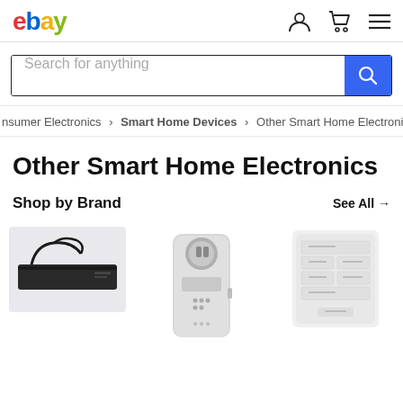[Figure (logo): eBay logo in colored letters: e(red), b(blue), a(yellow), y(green)]
[Figure (screenshot): Search bar with placeholder 'Search for anything' and blue search button with magnifying glass icon]
nsumer Electronics > Smart Home Devices > Other Smart Home Electronics
Other Smart Home Electronics
Shop by Brand
See All →
[Figure (photo): Black flat network/AV device with cable on light gray background]
[Figure (photo): White powerline adapter/smart plug device standing upright]
[Figure (photo): White smart home keypad/control panel with multiple buttons mounted on wall]